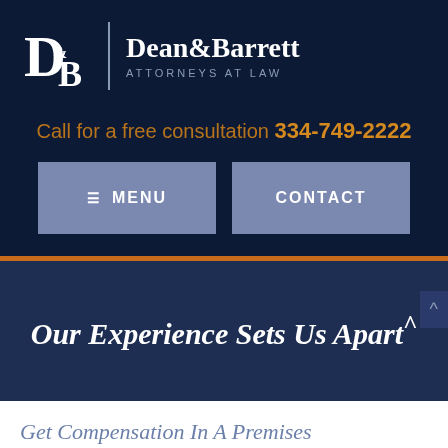[Figure (logo): Dean & Barrett Attorneys at Law logo with D&B monogram on dark navy background]
Call for a free consultation 334-749-2222
MENU
CONTACT
Our Experience Sets Us Apart^
Get Compensation In A Premises Li...
LIVE CHAT  START NOW